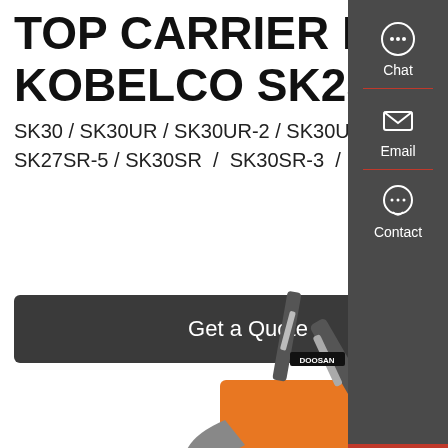TOP CARRIER ROLLER FOR KOBELCO SK25 / SK30 | EBay
SK30 / SK30UR / SK30UR-2 / SK30UR-3 / SK30-2 / SK32 / SK035 / SK035 COUPE / SK25 / SK27SR-5 / SK30SR / SK30SR-3 / SK30SR-5 / SK35SR / SK35SR-3. 1 ...
[Figure (other): Get a Quote button - dark grey rectangular button]
[Figure (photo): Orange Doosan mini excavator on white background]